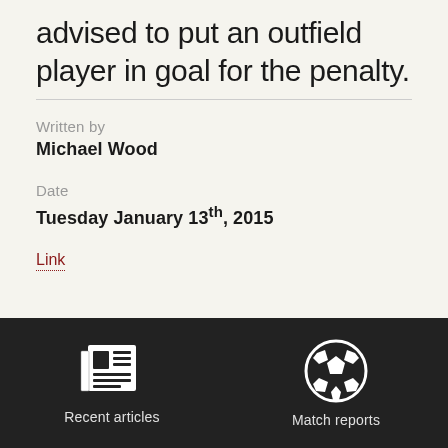advised to put an outfield player in goal for the penalty.
Written by
Michael Wood
Date
Tuesday January 13th, 2015
Link
[Figure (infographic): Dark navigation bar with two icons: a newspaper icon labeled 'Recent articles' and a soccer ball icon labeled 'Match reports']